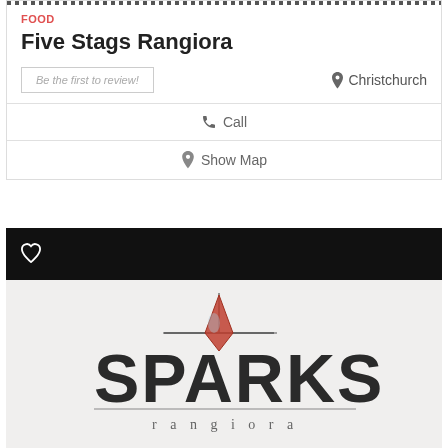FOOD
Five Stags Rangiora
Be the first to review!
Christchurch
Call
Show Map
[Figure (logo): Sparks Rangiora logo with a four-pointed star/spark graphic in red and dark colors above large bold text reading SPARKS with rangiora in smaller text below]